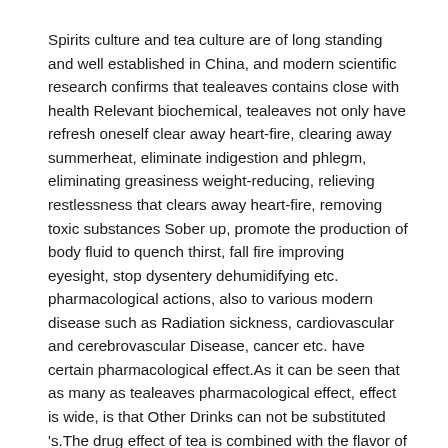Spirits culture and tea culture are of long standing and well established in China, and modern scientific research confirms that tealeaves contains close with health Relevant biochemical, tealeaves not only have refresh oneself clear away heart-fire, clearing away summerheat, eliminate indigestion and phlegm, eliminating greasiness weight-reducing, relieving restlessness that clears away heart-fire, removing toxic substances Sober up, promote the production of body fluid to quench thirst, fall fire improving eyesight, stop dysentery dehumidifying etc. pharmacological actions, also to various modern disease such as Radiation sickness, cardiovascular and cerebrovascular Disease, cancer etc. have certain pharmacological effect.As it can be seen that as many as tealeaves pharmacological effect, effect is wide, is that Other Drinks can not be substituted 's.The drug effect of tea is combined with the flavor of wine, and the nutritive value and flavor of gained tea wine have obtained further raising, becomes a kind of Beverage products suitable for people of all ages are increasingly subject to the favor of people.